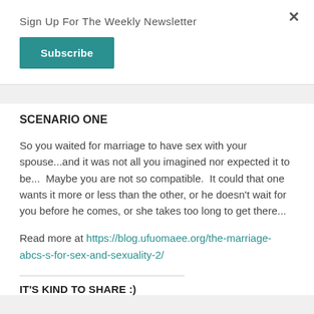Sign Up For The Weekly Newsletter
Subscribe
SCENARIO ONE
So you waited for marriage to have sex with your spouse...and it was not all you imagined nor expected it to be...  Maybe you are not so compatible.  It could that one wants it more or less than the other, or he doesn't wait for you before he comes, or she takes too long to get there...
Read more at https://blog.ufuomaee.org/the-marriage-abcs-s-for-sex-and-sexuality-2/
IT'S KIND TO SHARE :)